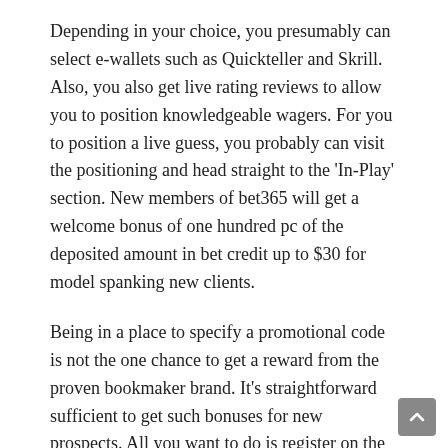Depending in your choice, you presumably can select e-wallets such as Quickteller and Skrill. Also, you also get live rating reviews to allow you to position knowledgeable wagers. For you to position a live guess, you probably can visit the positioning and head straight to the 'In-Play' section. New members of bet365 will get a welcome bonus of one hundred pc of the deposited amount in bet credit up to $30 for model spanking new clients.
Being in a place to specify a promotional code is not the one chance to get a reward from the proven bookmaker brand. It's straightforward sufficient to get such bonuses for new prospects. All you want to do is register on the corporate and deposit cash into your stability utilizing one of the available strategies.
Overall, you'll love the excellent variety of betting choices for each sport and event, as a end result of you will find